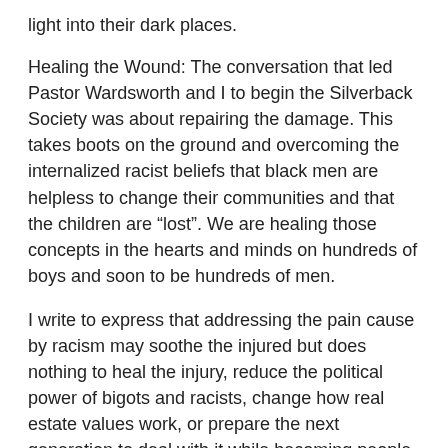light into their dark places.
Healing the Wound: The conversation that led Pastor Wardsworth and I to begin the Silverback Society was about repairing the damage. This takes boots on the ground and overcoming the internalized racist beliefs that black men are helpless to change their communities and that the children are “lost”. We are healing those concepts in the hearts and minds on hundreds of boys and soon to be hundreds of men.
I write to express that addressing the pain cause by racism may soothe the injured but does nothing to heal the injury, reduce the political power of bigots and racists, change how real estate values work, or prepare the next generation to deal with it while becoming people who will break the cycles put in motion generations earlier. Healers have to do something to change something.
LLOYD DENNIS, a.k.a. the "Love Doctor" is a motivator, trainer and the author of HIS WAY WORKS: A Primer For Modern Living. For more information visit: wwwlloyddennis.com or